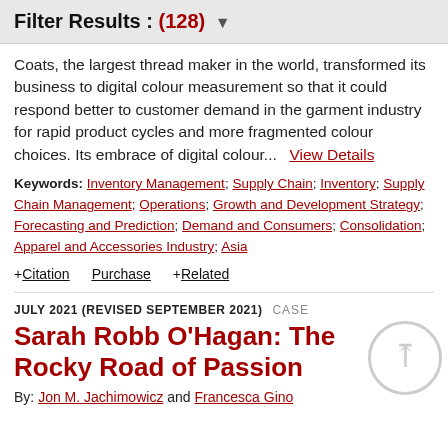Filter Results : (128) ▼
Coats, the largest thread maker in the world, transformed its business to digital colour measurement so that it could respond better to customer demand in the garment industry for rapid product cycles and more fragmented colour choices. Its embrace of digital colour...  View Details
Keywords: Inventory Management; Supply Chain; Inventory; Supply Chain Management; Operations; Growth and Development Strategy; Forecasting and Prediction; Demand and Consumers; Consolidation; Apparel and Accessories Industry; Asia
+ Citation   Purchase   + Related
JULY 2021 (REVISED SEPTEMBER 2021)  CASE
Sarah Robb O'Hagan: The Rocky Road of Passion
By: Jon M. Jachimowicz and Francesca Gino